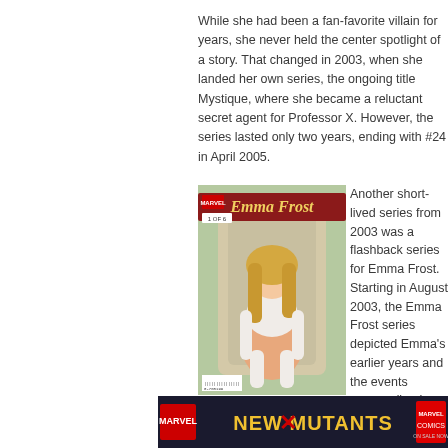While she had been a fan-favorite villain for years, she never held the center spotlight of a story. That changed in 2003, when she landed her own series, the ongoing title Mystique, where she became a reluctant secret agent for Professor X. However, the series lasted only two years, ending with #24 in April 2005.
[Figure (photo): Comic book cover of Emma Frost issue #1, showing a blonde woman in white costume sitting, with the title 'Emma Frost' in stylized text]
Another short-lived series from 2003 was a flashback series for Emma Frost. Starting in August 2003, the Emma Frost series depicted Emma's earlier years and the events surrounding her escape from her rich family. Initially the series was to last for some time, eventually catching up to her becoming the White Queen of the Hellfire Club (X-Men (1st series) #129, January 2005.
[Figure (photo): New Mutants comic book logo/cover image at bottom of page, with Marvel logo visible]